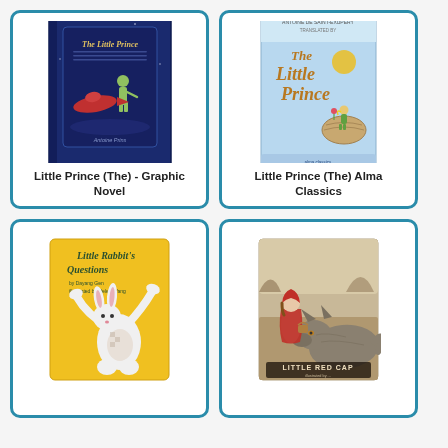[Figure (illustration): Book cover: The Little Prince - Graphic Novel, dark blue hardcover with illustration of the Little Prince and a red plane]
Little Prince (The) - Graphic Novel
[Figure (illustration): Book cover: The Little Prince Alma Classics, light blue cover with the Little Prince standing on an asteroid, ANTOINE DE SAINT-EXUPERY at top]
Little Prince (The) Alma Classics
[Figure (illustration): Book cover: Little Rabbit's Questions, yellow cover with illustration of a rabbit, by Dayang Gen, illustrated by Helen Wong]
[Figure (illustration): Book cover: Little Red Cap, illustrated cover with a girl in red hood and a wolf, watercolor style]